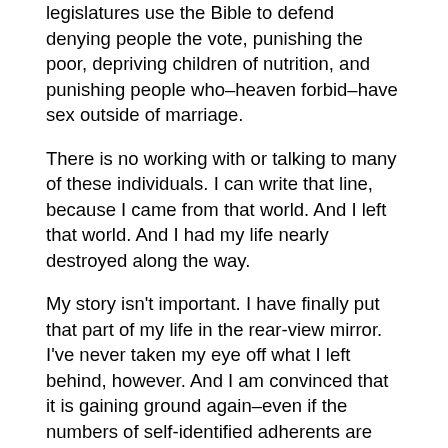legislatures use the Bible to defend denying people the vote, punishing the poor, depriving children of nutrition, and punishing people who–heaven forbid–have sex outside of marriage.
There is no working with or talking to many of these individuals. I can write that line, because I came from that world. And I left that world. And I had my life nearly destroyed along the way.
My story isn't important. I have finally put that part of my life in the rear-view mirror. I've never taken my eye off what I left behind, however. And I am convinced that it is gaining ground again–even if the numbers of self-identified adherents are down. Even in decline, their power is far out of proportion to their numbers.
It is time that we claim and raise the voice of our own Silent Majority: people of no religious affiliation like myself that now account for 1 out of 4 people in this country, plus religious liberals and people of faith who simply are just decent people. One deep concern we share is the rise of an evangelicalism that can become more nihilistic even as it declines in numbers.
We need to encourage national conversations about what